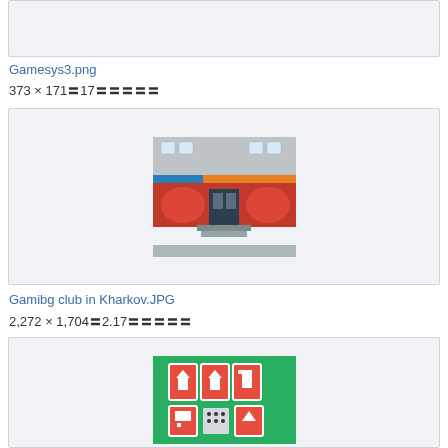[Figure (photo): Partial image box at top, content not visible]
Gamesys3.png
373 × 171〓17〓〓〓〓〓
[Figure (photo): Photo of Gamibg club storefront in Kharkov with red mural artwork on facade]
Gamibg club in Kharkov.JPG
2,272 × 1,704〓2.17〓〓〓〓〓
[Figure (photo): Photo of playing cards with red and white designs laid out on green surface]